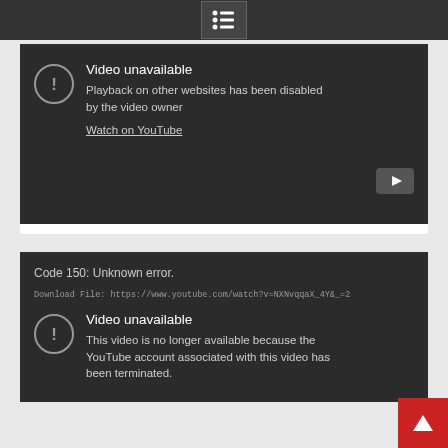[Figure (screenshot): Top navigation bar with a list/menu icon (white dots and lines) centered on a dark grey bar]
[Figure (screenshot): YouTube video embed showing error: 'Video unavailable — Playback on other websites has been disabled by the video owner' with Watch on YouTube link and YouTube logo button]
[Figure (screenshot): YouTube video embed showing: Code 150: Unknown error. Download File URL. Video unavailable — This video is no longer available because the YouTube account associated with this video has been terminated. With a scroll-to-top red button.]